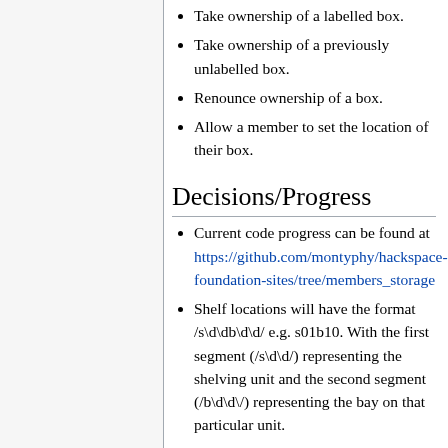Take ownership of a labelled box.
Take ownership of a previously unlabelled box.
Renounce ownership of a box.
Allow a member to set the location of their box.
Decisions/Progress
Current code progress can be found at https://github.com/montyphy/hackspace-foundation-sites/tree/members_storage
Shelf locations will have the format /s\d\db\d\d/ e.g. s01b10. With the first segment (/s\d\d/) representing the shelving unit and the second segment (/b\d\d\/) representing the bay on that particular unit.